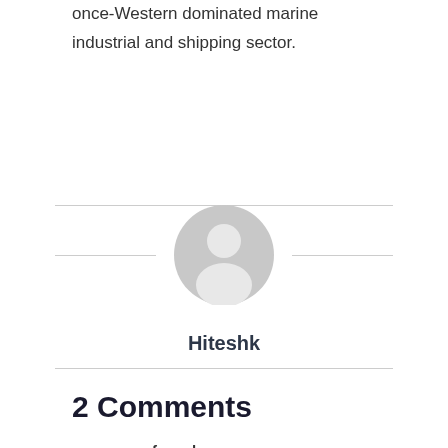once-Western dominated marine industrial and shipping sector.
[Figure (illustration): Default user avatar placeholder icon — grey circle with a grey silhouette of a person (head and shoulders), centered on the page]
Hiteshk
2 Comments
farzad azarney says: